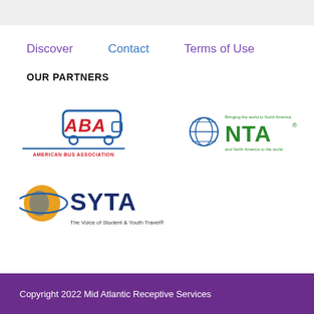Discover   Contact   Terms of Use
OUR PARTNERS
[Figure (logo): ABA American Bus Association logo — red italic ABA text with blue bus outline, underlined in blue with 'AMERICAN BUS ASSOCIATION' text]
[Figure (logo): NTA logo — blue globe graphic with green NTA text and tagline 'Bringing the world to North America and North America to the world']
[Figure (logo): SYTA logo — orange globe with orbit ring, dark blue SYTA text, 'The Voice of Student & Youth Travel®' tagline]
Copyright 2022 Mid Atlantic Receptive Services